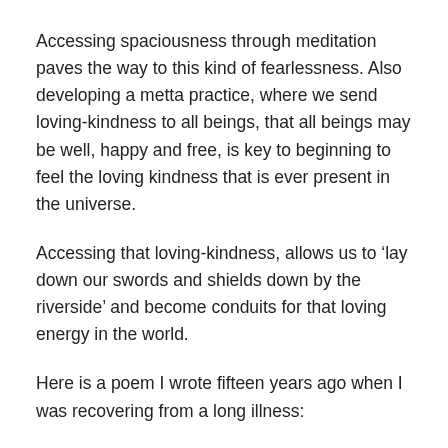Accessing spaciousness through meditation paves the way to this kind of fearlessness. Also developing a metta practice, where we send loving-kindness to all beings, that all beings may be well, happy and free, is key to beginning to feel the loving kindness that is ever present in the universe.
Accessing that loving-kindness, allows us to ‘lay down our swords and shields down by the riverside’ and become conduits for that loving energy in the world.
Here is a poem I wrote fifteen years ago when I was recovering from a long illness:
POEM: Dirt Bag Dharma